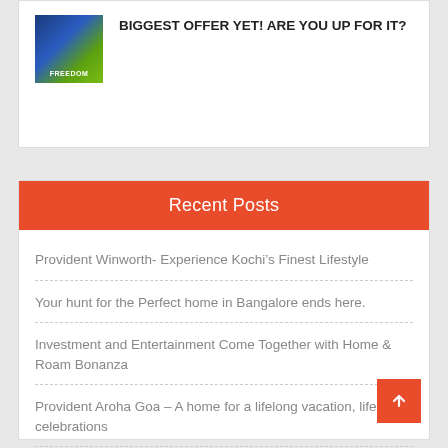[Figure (illustration): Thumbnail image with blue and green gradient, text FREEDOM visible]
BIGGEST OFFER YET! ARE YOU UP FOR IT?
Recent Posts
Provident Winworth- Experience Kochi’s Finest Lifestyle
Your hunt for the Perfect home in Bangalore ends here.
Investment and Entertainment Come Together with Home & Roam Bonanza
Provident Aroha Goa – A home for a lifelong vacation, lifelong celebrations
Happiness begins at home when you live at Sundeck